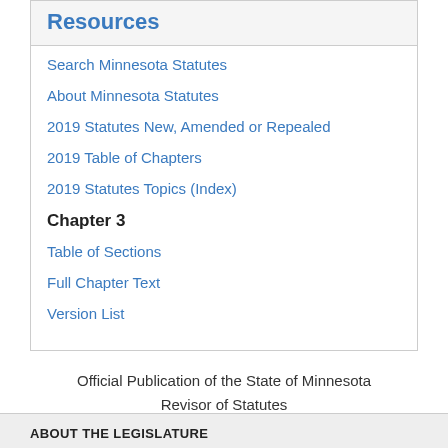Resources
Search Minnesota Statutes
About Minnesota Statutes
2019 Statutes New, Amended or Repealed
2019 Table of Chapters
2019 Statutes Topics (Index)
Chapter 3
Table of Sections
Full Chapter Text
Version List
Official Publication of the State of Minnesota
Revisor of Statutes
ABOUT THE LEGISLATURE